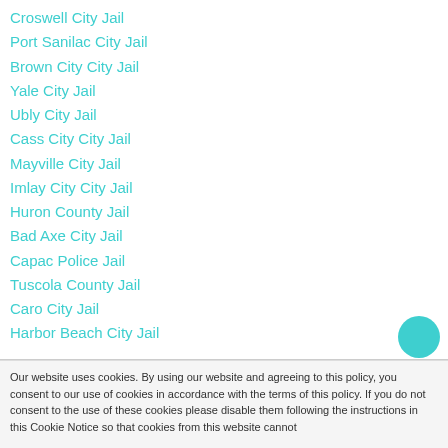Croswell City Jail
Port Sanilac City Jail
Brown City City Jail
Yale City Jail
Ubly City Jail
Cass City City Jail
Mayville City Jail
Imlay City City Jail
Huron County Jail
Bad Axe City Jail
Capac Police Jail
Tuscola County Jail
Caro City Jail
Harbor Beach City Jail
Our website uses cookies. By using our website and agreeing to this policy, you consent to our use of cookies in accordance with the terms of this policy. If you do not consent to the use of these cookies please disable them following the instructions in this Cookie Notice so that cookies from this website cannot